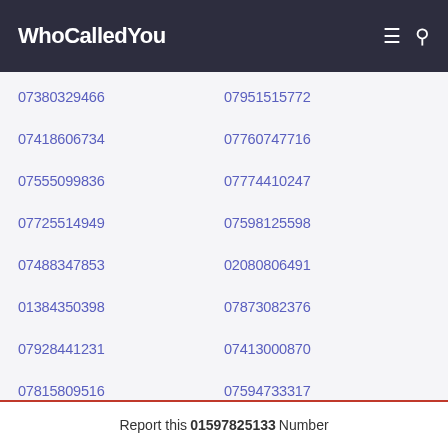WhoCalledYou
07380329466
07951515772
07418606734
07760747716
07555099836
07774410247
07725514949
07598125598
07488347853
02080806491
01384350398
07873082376
07928441231
07413000870
07815809516
07594733317
07555920992
01289540579
Report this 01597825133 Number